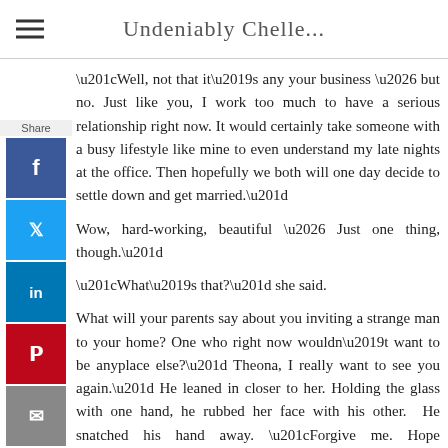Undeniably Chelle...
“Well, not that it’s any your business … but no. Just like you, I work too much to have a serious relationship right now. It would certainly take someone with a busy lifestyle like mine to even understand my late nights at the office. Then hopefully we both will one day decide to settle down and get married.”
Wow, hard-working, beautiful … Just one thing, though.”
“What’s that?” she said.
What will your parents say about you inviting a strange man to your home? One who right now wouldn’t want to be anyplace else?” Theona, I really want to see you again.” He leaned in closer to her. Holding the glass with one hand, he rubbed her face with his other.  He snatched his hand away. “Forgive me. Hope you’re not offended. More brandy’s fine.”